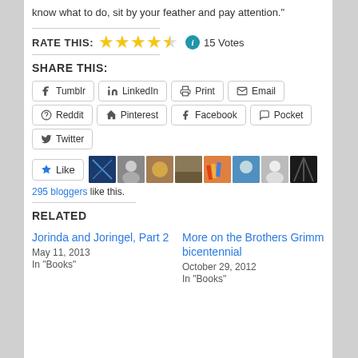know what to do, sit by your feather and pay attention."
RATE THIS: ★★★★½ ℹ 15 Votes
SHARE THIS:
Tumblr
LinkedIn
Print
Email
Reddit
Pinterest
Facebook
Pocket
Twitter
295 bloggers like this.
RELATED
Jorinda and Joringel, Part 2
May 11, 2013
In "Books"
More on the Brothers Grimm bicentennial
October 29, 2012
In "Books"